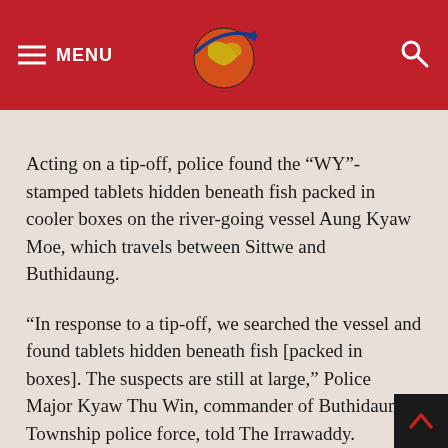MENU | The Irrawaddy Logo | Search
Acting on a tip-off, police found the “WY”-stamped tablets hidden beneath fish packed in cooler boxes on the river-going vessel Aung Kyaw Moe, which travels between Sittwe and Buthidaung.
“In response to a tip-off, we searched the vessel and found tablets hidden beneath fish [packed in boxes]. The suspects are still at large,” Police Major Kyaw Thu Win, commander of Buthidaung Township police force, told The Irrawaddy.
“We are identifying the consignor and consignee,” he